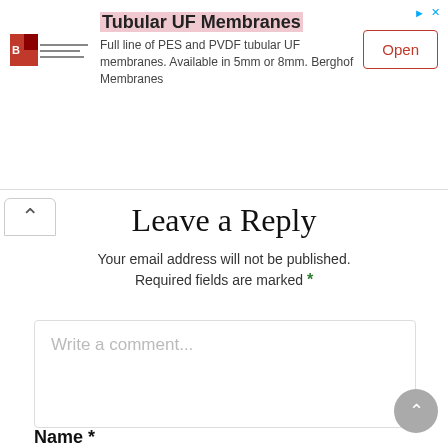[Figure (screenshot): Advertisement banner for Berghof Membranes showing logo, 'Tubular UF Membranes' headline, description text, and Open button]
Leave a Reply
Your email address will not be published.
Required fields are marked *
[Figure (screenshot): Comment text area with placeholder text 'Write a comment...']
Name *